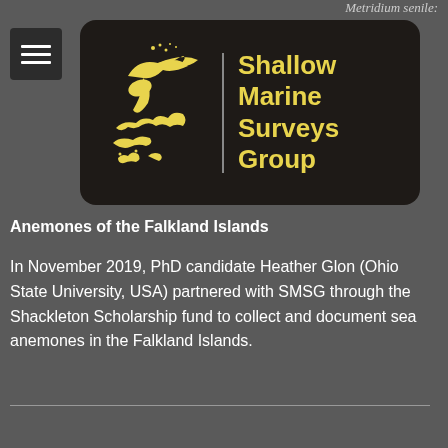Metridium senile:
[Figure (logo): Shallow Marine Surveys Group logo: yellow bird and Falkland Islands silhouette on dark background with yellow text reading 'Shallow Marine Surveys Group']
Anemones of the Falkland Islands
In November 2019, PhD candidate Heather Glon (Ohio State University, USA) partnered with SMSG through the Shackleton Scholarship fund to collect and document sea anemones in the Falkland Islands.